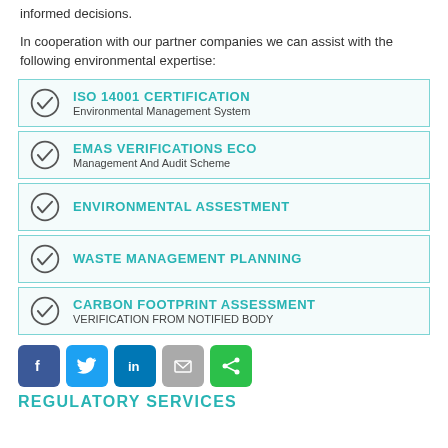informed decisions.
In cooperation with our partner companies we can assist with the following environmental expertise:
ISO 14001 CERTIFICATION
Environmental Management System
EMAS VERIFICATIONS ECO
Management And Audit Scheme
ENVIRONMENTAL ASSESTMENT
WASTE MANAGEMENT PLANNING
CARBON FOOTPRINT ASSESSMENT
VERIFICATION FROM NOTIFIED BODY
[Figure (infographic): Social media sharing buttons: Facebook, Twitter, LinkedIn, Email, Share]
REGULATORY SERVICES